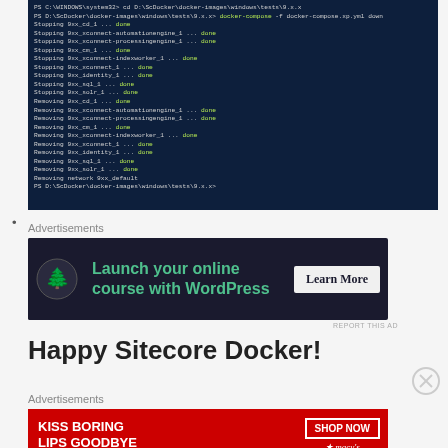[Figure (screenshot): Windows PowerShell terminal showing docker-compose -f docker-compose.xp.yml down command output, with multiple Stopping and Removing container lines ending in 'done', and Removing network 9xx_default]
Advertisements
[Figure (other): Advertisement banner: Launch your online course with WordPress - Learn More button, dark background with green text and tree icon]
REPORT THIS AD
Happy Sitecore Docker!
Advertisements
[Figure (other): Advertisement banner: Kiss Boring Lips Goodbye - Shop Now - Macy's, red background with woman's photo]